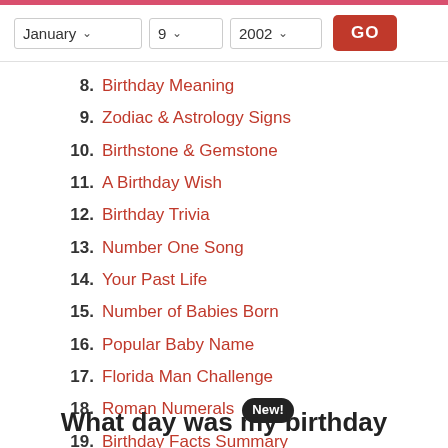January 9 2002 GO
8. Birthday Meaning
9. Zodiac & Astrology Signs
10. Birthstone & Gemstone
11. A Birthday Wish
12. Birthday Trivia
13. Number One Song
14. Your Past Life
15. Number of Babies Born
16. Popular Baby Name
17. Florida Man Challenge
18. Roman Numerals New!
19. Birthday Facts Summary
20. Share This Ninja Page
What day was my birthday